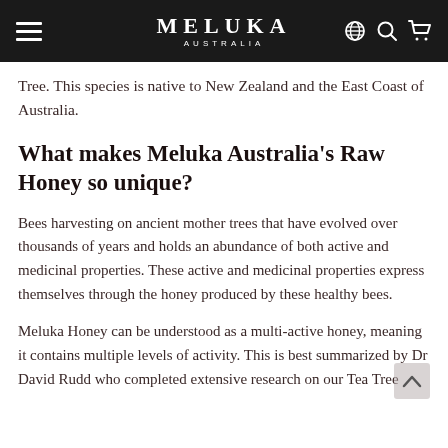MELUKA AUSTRALIA
Tree. This species is native to New Zealand and the East Coast of Australia.
What makes Meluka Australia's Raw Honey so unique?
Bees harvesting on ancient mother trees that have evolved over thousands of years and holds an abundance of both active and medicinal properties. These active and medicinal properties express themselves through the honey produced by these healthy bees.
Meluka Honey can be understood as a multi-active honey, meaning it contains multiple levels of activity. This is best summarized by Dr David Rudd who completed extensive research on our Tea Tree